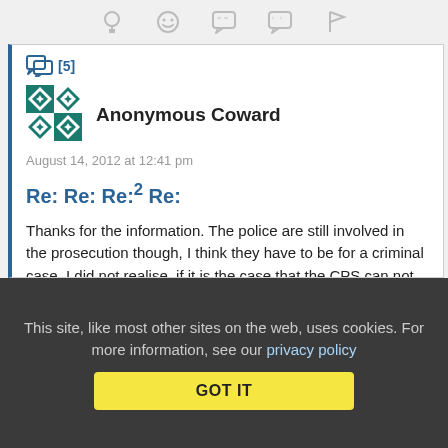[Figure (other): Toolbar with icons: lightbulb, emoji/smiley, speech bubble with quote marks, speech bubble with quote marks, and flag icons]
[Figure (other): Teal/green geometric patterned avatar image for Anonymous Coward user]
Anonymous Coward
August 14, 2012 at 12:41 pm
Re: Re: Re:2 Re:
Thanks for the information. The police are still involved in the prosecution though, I think they have to be for a criminal case, I did not realise, if it is the case that the CPS can not be involved.
This site, like most other sites on the web, uses cookies. For more information, see our privacy policy
GOT IT